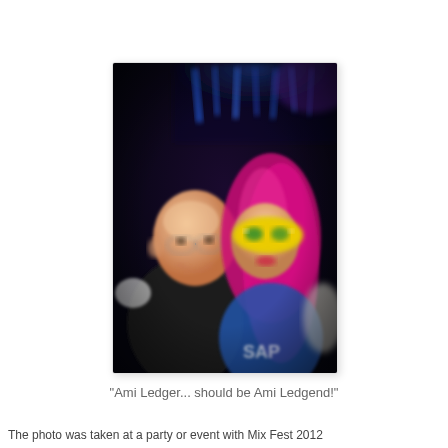[Figure (photo): A blurry nightclub photo showing two people posing together. On the left is a man with glasses wearing a black shirt, smiling. On the right is a woman with bright pink/red hair wearing a yellow masquerade mask and a blue top with 'SAP' text. Background shows blue and purple nightclub lighting.]
"Ami Ledger... should be Ami Ledgend!"
The photo was taken at a party or event with Mix Fest 2012